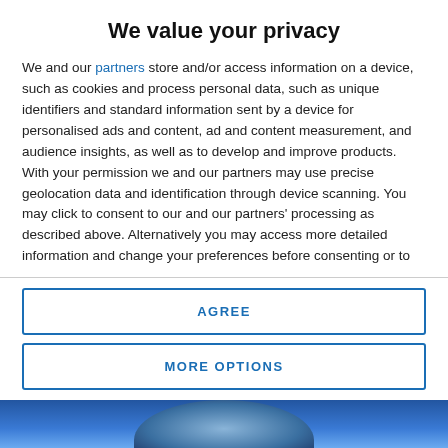We value your privacy
We and our partners store and/or access information on a device, such as cookies and process personal data, such as unique identifiers and standard information sent by a device for personalised ads and content, ad and content measurement, and audience insights, as well as to develop and improve products. With your permission we and our partners may use precise geolocation data and identification through device scanning. You may click to consent to our and our partners' processing as described above. Alternatively you may access more detailed information and change your preferences before consenting or to refuse consenting. Please note that some processing of your personal data may not require your consent, but you have a right to
AGREE
MORE OPTIONS
[Figure (photo): Bottom portion of a page showing a person, partially visible, with blue tones]